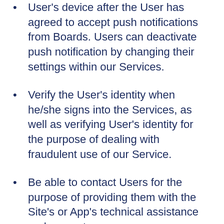Send push notifications to the User's device after the User has agreed to accept push notifications from Boards. Users can deactivate push notification by changing their settings within our Services.
Verify the User's identity when he/she signs into the Services, as well as verifying User's identity for the purpose of dealing with fraudulent use of our Service.
Be able to contact Users for the purpose of providing them with the Site's or App's technical assistance and support.
Conduct internal operations, including troubleshooting, data analysis, testing, research and statistical purposes, including in order to improve our Services. Please note that in general we analyze aggregate